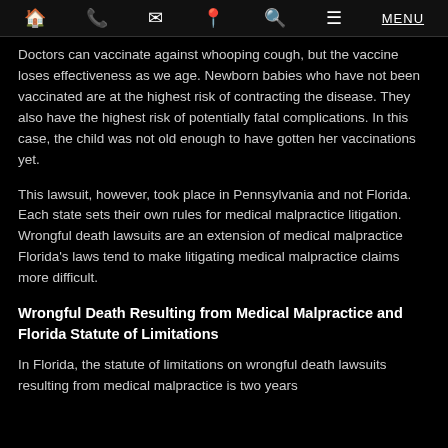🏠 📞 ✉ 📍 🔍 ☰ MENU
Doctors can vaccinate against whooping cough, but the vaccine loses effectiveness as we age. Newborn babies who have not been vaccinated are at the highest risk of contracting the disease. They also have the highest risk of potentially fatal complications. In this case, the child was not old enough to have gotten her vaccinations yet.
This lawsuit, however, took place in Pennsylvania and not Florida. Each state sets their own rules for medical malpractice litigation. Wrongful death lawsuits are an extension of medical malpractice Florida's laws tend to make litigating medical malpractice claims more difficult.
Wrongful Death Resulting from Medical Malpractice and Florida Statute of Limitations
In Florida, the statute of limitations on wrongful death lawsuits resulting from medical malpractice is two years from the date the medical malpractice action accrued. That is